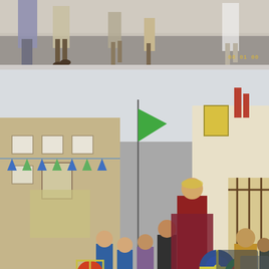[Figure (photo): Top cropped photo showing the lower halves/feet of people in medieval or historical costumes walking on a road. Timestamp '08 01 00' visible in lower right.]
[Figure (photo): Large photo of a group of people dressed in medieval Viking/Saxon costumes carrying shields and banners, walking through a town square with stone buildings and bunting in the background. Timestamp '08 01 00' visible in lower right.]
Continue Reading »
CRICKET